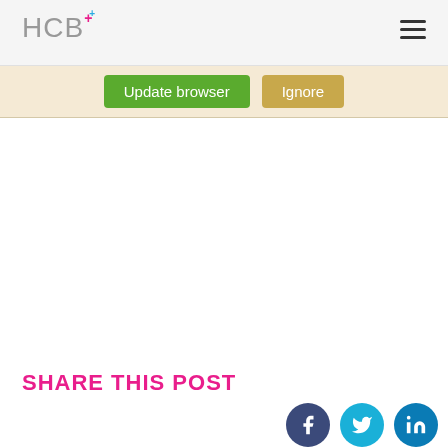HCB+
Update browser | Ignore
SHARE THIS POST